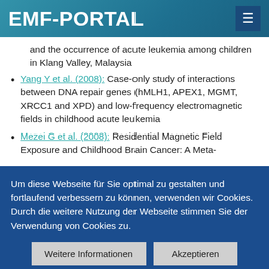EMF-PORTAL
and the occurrence of acute leukemia among children in Klang Valley, Malaysia
Yang Y et al. (2008): Case-only study of interactions between DNA repair genes (hMLH1, APEX1, MGMT, XRCC1 and XPD) and low-frequency electromagnetic fields in childhood acute leukemia
Mezei G et al. (2008): Residential Magnetic Field Exposure and Childhood Brain Cancer: A Meta-
Um diese Webseite für Sie optimal zu gestalten und fortlaufend verbessern zu können, verwenden wir Cookies. Durch die weitere Nutzung der Webseite stimmen Sie der Verwendung von Cookies zu.
Weitere Informationen | Akzeptieren